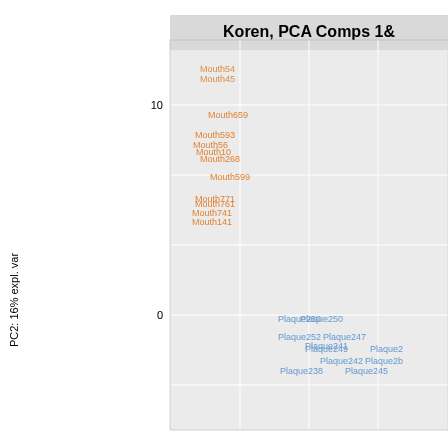[Figure (continuous-plot): PCA scatter plot showing Mouth samples (orange) clustered in upper-left region with high PC2 values around 10-17, and Plaque samples (blue) clustered in lower-right region with PC2 values around -2 to 0. Labels include Mouth54, Mouth45, Mouth659, Mouth593, Mouth599, Mouth268, Mouth771, Mouth141, Plaque250, Plaque252, Plaque247, Plaque241, Plaque249, Plaque242, Plaque238, Plaque245 and others partially cut off.]